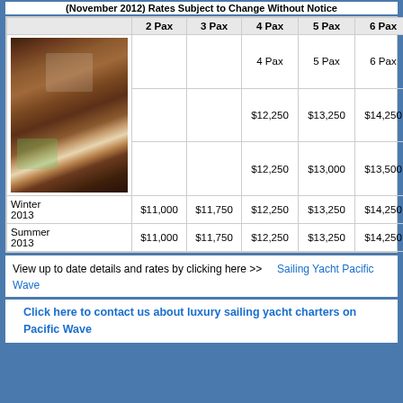(November 2012) Rates Subject to Change Without Notice
|  | 2 Pax | 3 Pax | 4 Pax | 5 Pax | 6 Pax |
| --- | --- | --- | --- | --- | --- |
| [photo] |  |  | 4 Pax | 5 Pax | 6 Pax |
| [photo] |  |  | $12,250 | $13,250 | $14,250 |
| [photo] |  |  | $12,250 | $13,000 | $13,500 |
| Winter 2013 | $11,000 | $11,750 | $12,250 | $13,250 | $14,250 |
| Summer 2013 | $11,000 | $11,750 | $12,250 | $13,250 | $14,250 |
View up to date details and rates by clicking here >> Sailing Yacht Pacific Wave
Click here to contact us about luxury sailing yacht charters on Pacific Wave